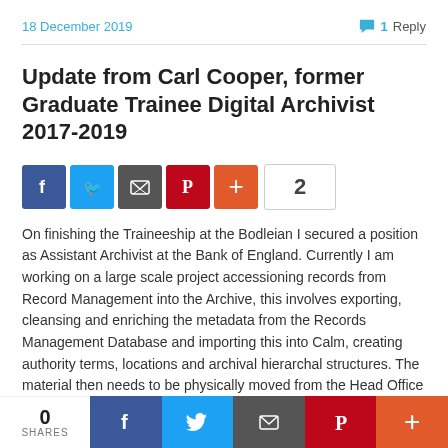18 December 2019   1 Reply
Update from Carl Cooper, former Graduate Trainee Digital Archivist 2017-2019
[Figure (infographic): Social sharing buttons: Facebook, Twitter, Email, Pinterest, Plus, with share count of 2]
On finishing the Traineeship at the Bodleian I secured a position as Assistant Archivist at the Bank of England. Currently I am working on a large scale project accessioning records from Record Management into the Archive, this involves exporting, cleansing and enriching the metadata from the Records Management Database and importing this into Calm, creating authority terms, locations and archival hierarchal structures. The material then needs to be physically moved from the Head Office Record Centre into the Archive, labelled and re-boxed. My experience at the Bodleian and from the course has enabled me to
[Figure (infographic): Bottom social sharing bar: 0 SHARES counter, Facebook, Twitter, Email, Pinterest, Plus buttons]